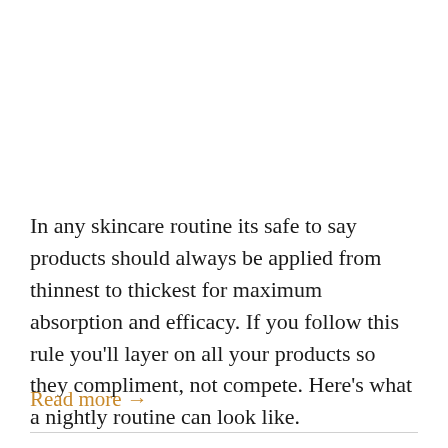In any skincare routine its safe to say products should always be applied from thinnest to thickest for maximum absorption and efficacy. If you follow this rule you'll layer on all your products so they compliment, not compete. Here's what a nightly routine can look like.
Read more →